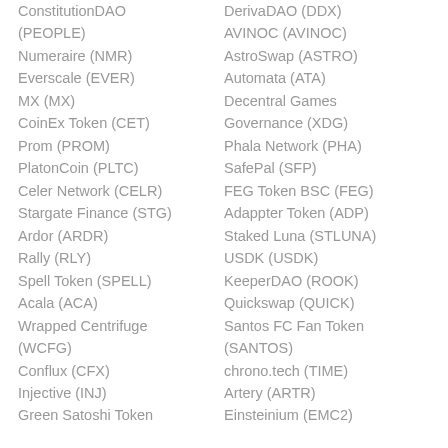ConstitutionDAO (PEOPLE)
Numeraire (NMR)
Everscale (EVER)
MX (MX)
CoinEx Token (CET)
Prom (PROM)
PlatonCoin (PLTC)
Celer Network (CELR)
Stargate Finance (STG)
Ardor (ARDR)
Rally (RLY)
Spell Token (SPELL)
Acala (ACA)
Wrapped Centrifuge (WCFG)
Conflux (CFX)
Injective (INJ)
Green Satoshi Token
DerivaDAO (DDX)
AVINOC (AVINOC)
AstroSwap (ASTRO)
Automata (ATA)
Decentral Games Governance (XDG)
Phala Network (PHA)
SafePal (SFP)
FEG Token BSC (FEG)
Adappter Token (ADP)
Staked Luna (STLUNA)
USDK (USDK)
KeeperDAO (ROOK)
Quickswap (QUICK)
Santos FC Fan Token (SANTOS)
chrono.tech (TIME)
Artery (ARTR)
Einsteinium (EMC2)